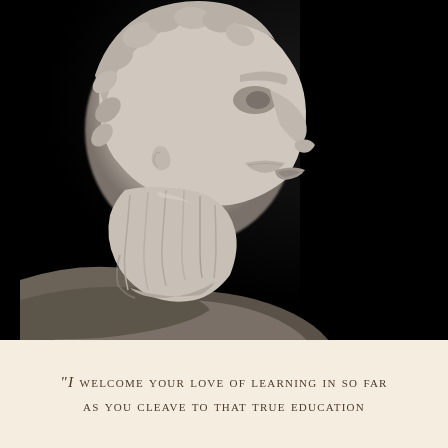[Figure (photo): Black and white photograph of a marble bust of a bearded ancient Greek or Roman philosopher, shown in profile facing right, against a dark black background. The bust shows detailed curly hair and a full beard with fine carved texture.]
“I welcome your love of learning in so far as you cleave to that true education